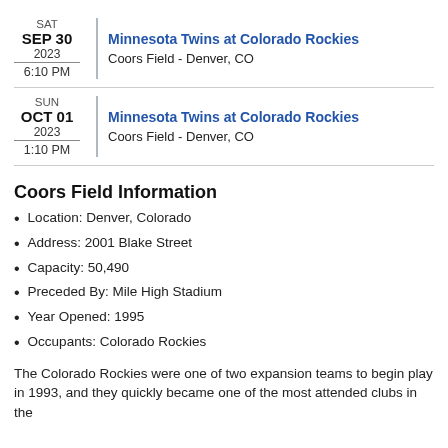SAT SEP 30 2023 6:10 PM | Minnesota Twins at Colorado Rockies | Coors Field - Denver, CO
SUN OCT 01 2023 1:10 PM | Minnesota Twins at Colorado Rockies | Coors Field - Denver, CO
Coors Field Information
Location: Denver, Colorado
Address: 2001 Blake Street
Capacity: 50,490
Preceded By: Mile High Stadium
Year Opened: 1995
Occupants: Colorado Rockies
The Colorado Rockies were one of two expansion teams to begin play in 1993, and they quickly became one of the most attended clubs in the